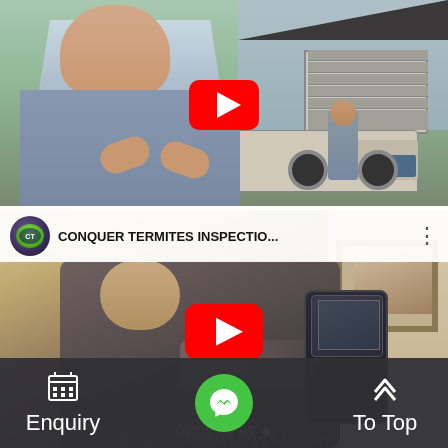[Figure (screenshot): Top YouTube video thumbnail showing a man in a blue shirt gesturing with hands, with a house, garage, and work truck visible in the background. A red YouTube play button is overlaid in the center.]
[Figure (screenshot): Bottom YouTube video embed showing channel logo for Conquer Termites, title 'CONQUER TERMITES INSPECTIO...', a man holding a thermal imaging camera device, with a red YouTube play button overlaid in the center. Timer shows 00:05:00:09.]
CONQUER TERMITES INSPECTIO...
00:05:00:09
Enquiry
To Top